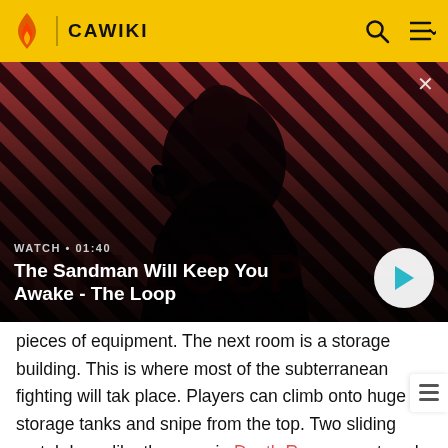CAWIKI
[Figure (screenshot): Video thumbnail for 'The Sandman Will Keep You Awake - The Loop' showing a dark figure with a crow on shoulder against a red and dark diagonal striped background. Overlay shows WATCH • 01:40 and the video title. A circular play button is in the bottom right.]
pieces of equipment. The next room is a storage building. This is where most of the subterranean fighting will take place. Players can climb onto huge storage tanks and snipe from the top. Two sliding metal doors like the ones in Death Room are at each entrance.